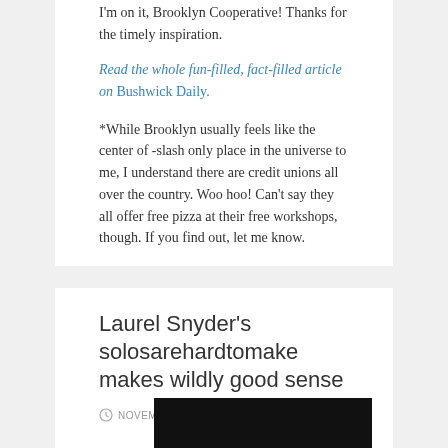I'm on it, Brooklyn Cooperative! Thanks for the timely inspiration.
Read the whole fun-filled, fact-filled article on Bushwick Daily.
*While Brooklyn usually feels like the center of -slash only place in the universe to me, I understand there are credit unions all over the country. Woo hoo! Can't say they all offer free pizza at their free workshops, though. If you find out, let me know.
Laurel Snyder's solosarehardtomake makes wildly good sense
NOVEMBER 4, 2016
LEAVE A COMMENT
[Figure (photo): Dark/black image area at bottom of card]